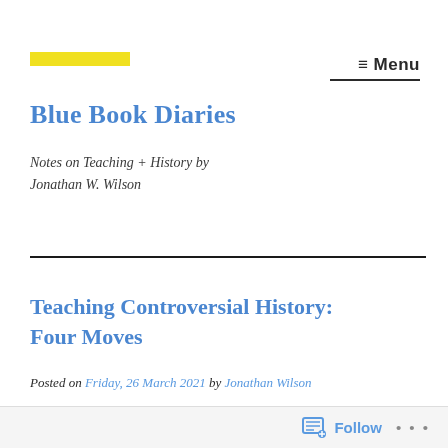[Figure (other): Yellow horizontal bar used as decorative logo/brand element]
≡ Menu
Blue Book Diaries
Notes on Teaching + History by Jonathan W. Wilson
Teaching Controversial History: Four Moves
Posted on Friday, 26 March 2021 by Jonathan Wilson
Follow  •••